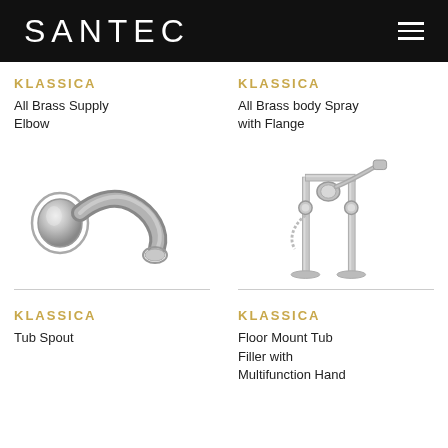SANTEC
KLASSICA
All Brass Supply Elbow
KLASSICA
All Brass body Spray with Flange
[Figure (illustration): Chrome tub spout elbow plumbing fixture, curved S-shape with circular wall flange]
[Figure (illustration): Chrome floor mount tub filler with multifunction hand shower, freestanding floor-mounted fixture with tall vertical pipes]
KLASSICA
Tub Spout
KLASSICA
Floor Mount Tub Filler with Multifunction Hand